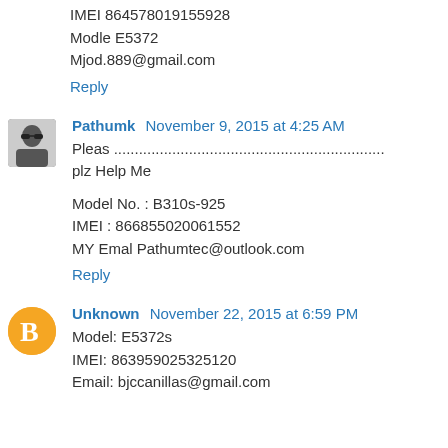IMEI 864578019155928
Modle E5372
Mjod.889@gmail.com
Reply
Pathumk  November 9, 2015 at 4:25 AM
Pleas .................................................................
plz Help Me

Model No. : B310s-925
IMEI : 866855020061552
MY Emal Pathumtec@outlook.com
Reply
Unknown  November 22, 2015 at 6:59 PM
Model: E5372s
IMEI: 863959025325120
Email: bjccanillas@gmail.com